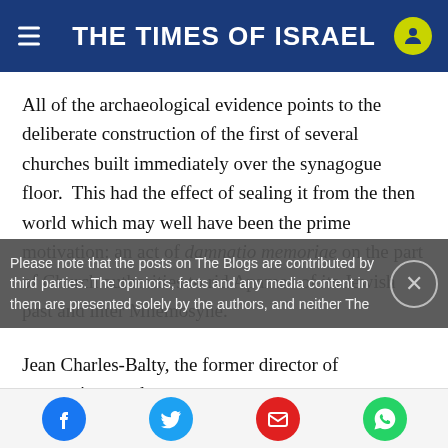THE TIMES OF ISRAEL
All of the archaeological evidence points to the deliberate construction of the first of several churches built immediately over the synagogue floor.  This had the effect of sealing it from the then world which may well have been the prime motivation: an act of damnatio memoriae on the part of Church authorities to rid Apamea of its Jewish past and inter Mnemosyne.
Jean Charles-Balty, the former director of excavations at the
Please note that the posts on The Blogs are contributed by third parties. The opinions, facts and any media content in them are presented solely by the authors, and neither The